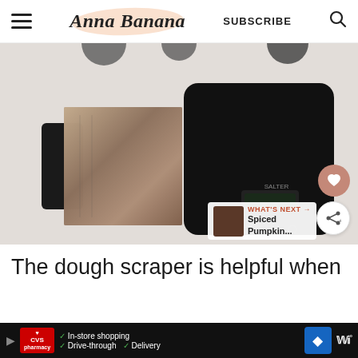Anna Banana — SUBSCRIBE
[Figure (photo): Overhead flat-lay photo of a dough scraper with black handle and stainless steel blade, and a black Salter digital kitchen scale, on a white surface. Social action buttons (heart and share) visible on right side. 'What's Next' thumbnail showing Spiced Pumpkin... in bottom right overlay.]
The dough scraper is helpful when
CVS pharmacy ad — In-store shopping, Drive-through, Delivery